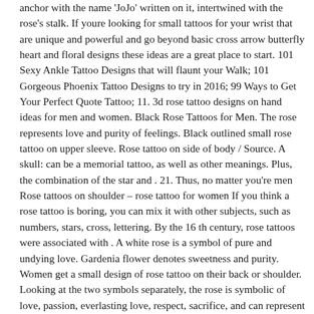anchor with the name 'JoJo' written on it, intertwined with the rose's stalk. If youre looking for small tattoos for your wrist that are unique and powerful and go beyond basic cross arrow butterfly heart and floral designs these ideas are a great place to start. 101 Sexy Ankle Tattoo Designs that will flaunt your Walk; 101 Gorgeous Phoenix Tattoo Designs to try in 2016; 99 Ways to Get Your Perfect Quote Tattoo; 11. 3d rose tattoo designs on hand ideas for men and women. Black Rose Tattoos for Men. The rose represents love and purity of feelings. Black outlined small rose tattoo on upper sleeve. Rose tattoo on side of body / Source. A skull: can be a memorial tattoo, as well as other meanings. Plus, the combination of the star and . 21. Thus, no matter you're men Rose tattoos on shoulder – rose tattoo for women If you think a rose tattoo is boring, you can mix it with other subjects, such as numbers, stars, cross, lettering. By the 16 th century, rose tattoos were associated with . A white rose is a symbol of pure and undying love. Gardenia flower denotes sweetness and purity. Women get a small design of rose tattoo on their back or shoulder. Looking at the two symbols separately, the rose is symbolic of love, passion, everlasting love, respect, sacrifice, and can represent a memorial. Simple Rose Tattoos. Does yellow ink fade tattoos? All tattoos fade over time. Small Rose Tattoos on Finger and Hand. It is truly elegant with its small and simple design. Although it symbolizes the death, it can also mean something new and inspire courage and enthusiasm. By placing a rose tattoo on the upper